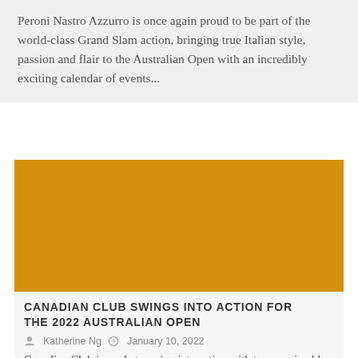Peroni Nastro Azzurro is once again proud to be part of the world-class Grand Slam action, bringing true Italian style, passion and flair to the Australian Open with an incredibly exciting calendar of events...
[Figure (photo): Large amber/golden-orange colored rectangular image placeholder for Canadian Club article]
CANADIAN CLUB SWINGS INTO ACTION FOR THE 2022 AUSTRALIAN OPEN
Katherine Ng   January 10, 2022
Canadian Club is ready to swing into action with two unmissable clubhouses popping